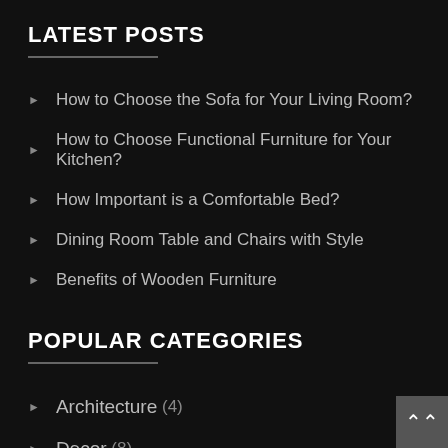LATEST POSTS
How to Choose the Sofa for Your Living Room?
How to Choose Functional Furniture for Your Kitchen?
How Important is a Comfortable Bed?
Dining Room Table and Chairs with Style
Benefits of Wooden Furniture
POPULAR CATEGORIES
Architecture (4)
Decor (8)
DIY (1)